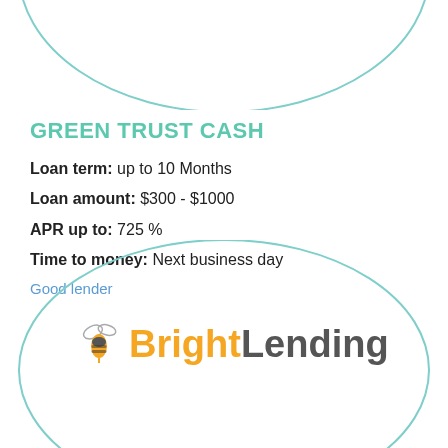[Figure (illustration): Decorative teal/blue arc ellipse at top of page]
GREEN TRUST CASH
Loan term: up to 10 Months
Loan amount: $300 - $1000
APR up to: 725 %
Time to money: Next business day
Good lender
[Figure (illustration): Large decorative teal/blue ellipse outline in lower half of page]
[Figure (logo): BrightLending logo with orange bee icon, orange 'Bright' and gray 'Lending' text]